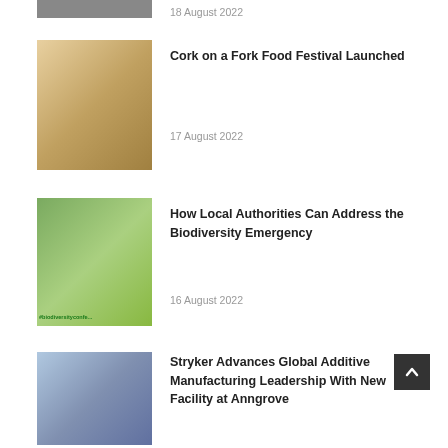[Figure (photo): Partial image visible at top of page (cropped)]
18 August 2022
[Figure (photo): People in aprons at Cork on a Fork Food Festival]
Cork on a Fork Food Festival Launched
17 August 2022
[Figure (photo): Butterfly and owl with #biodiversityconference text]
How Local Authorities Can Address the Biodiversity Emergency
16 August 2022
[Figure (photo): Group of men in suits at Stryker facility]
Stryker Advances Global Additive Manufacturing Leadership With New Facility at Anngrove
15 August 2022
[Figure (photo): Limerick castle and outdoor activities scene]
Incredible Activities and Experiences On Offer to Holidaymakers in Limerick
12 August 2022